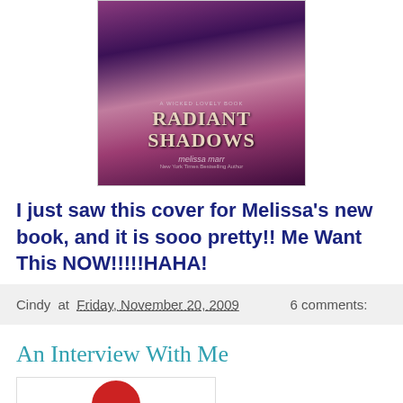[Figure (photo): Book cover for 'Radiant Shadows' by Melissa Marr, New York Times Bestselling Author, part of the Wicked Lovely series. Dark purple and pink tones with decorative title text.]
I just saw this cover for Melissa's new book, and it is sooo pretty!! Me Want This NOW!!!!!HAHA!
Cindy at Friday, November 20, 2009    6 comments:
An Interview With Me
[Figure (photo): Partial thumbnail image showing a red circle element at the bottom of the page.]